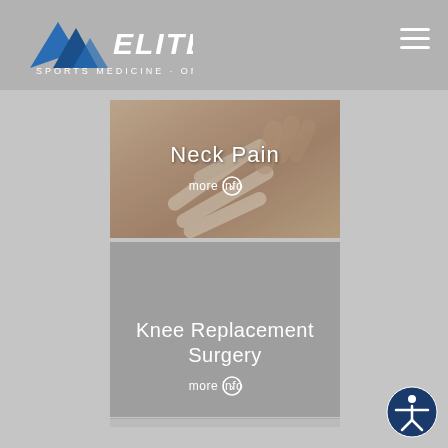[Figure (logo): Elite Sports Medicine & Orthopedics logo with mountain graphic and ELITE text]
[Figure (photo): Neck Pain service card with spine/kinesiology tape photo background, text 'Neck Pain' and 'more info' link]
[Figure (photo): Knee Replacement Surgery service card with gray background, text 'Knee Replacement Surgery' and 'more info' link]
[Figure (illustration): Accessibility icon (person in circle) in bottom right corner]